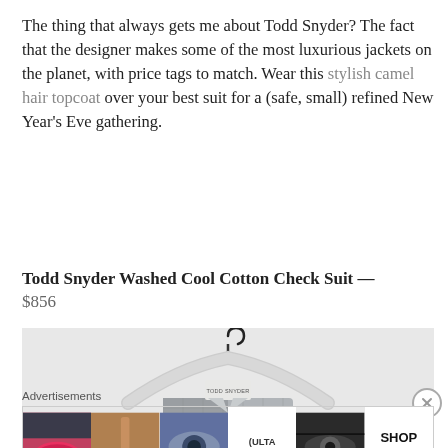The thing that always gets me about Todd Snyder? The fact that the designer makes some of the most luxurious jackets on the planet, with price tags to match. Wear this stylish camel hair topcoat over your best suit for a (safe, small) refined New Year's Eve gathering.
Todd Snyder Washed Cool Cotton Check Suit — $856
[Figure (photo): Product photo showing a Todd Snyder check suit jacket on a hanger against a light gray background]
Advertisements
[Figure (photo): Ulta Beauty advertisement banner showing cosmetics and makeup looks with SHOP NOW call to action]